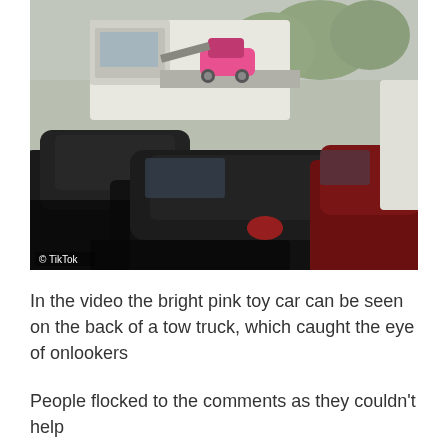[Figure (photo): Street scene showing multiple cars in traffic with a tow truck carrying a bright pink toy car on its flatbed. Trees visible in background. TikTok watermark in bottom left corner.]
© TikTok
In the video the bright pink toy car can be seen on the back of a tow truck, which caught the eye of onlookers
People flocked to the comments as they couldn't help